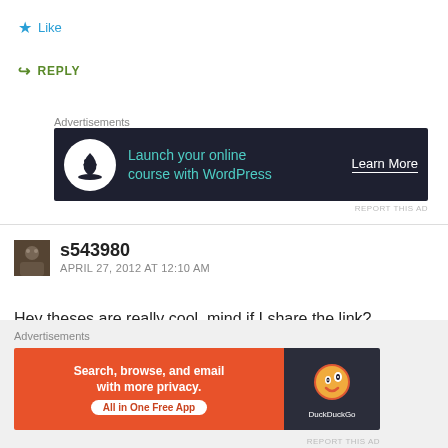★ Like
↪ REPLY
Advertisements
[Figure (screenshot): Dark advertisement banner: bonsai tree icon, text 'Launch your online course with WordPress', 'Learn More' button]
REPORT THIS AD
s543980
APRIL 27, 2012 AT 12:10 AM
Hey theses are really cool, mind if I share the link?
★ Like
Advertisements
[Figure (screenshot): DuckDuckGo advertisement: orange background, text 'Search, browse, and email with more privacy. All in One Free App', DuckDuckGo logo on dark right panel]
REPORT THIS AD